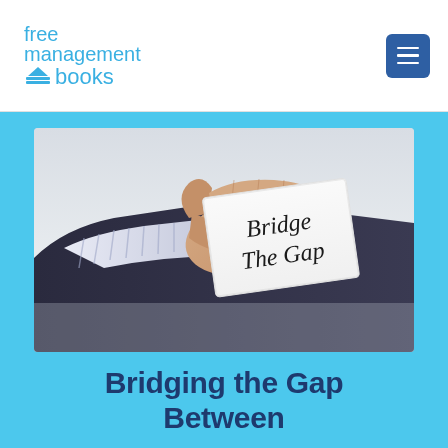[Figure (logo): Free Management Books logo with stacked books icon in light blue]
[Figure (photo): Hand holding a white card that reads 'Bridge The Gap' in handwritten text, on a light background]
Bridging the Gap Between